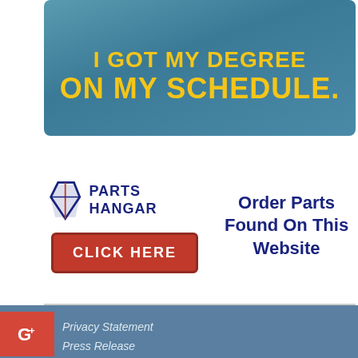[Figure (illustration): Online education banner ad with teal background and yellow text reading 'I GOT MY DEGREE ON MY SCHEDULE.']
[Figure (illustration): Parts Hangar advertisement with logo, red 'CLICK HERE' button, and text 'Order Parts Found On This Website']
Privacy Statement
Press Release
Contact
Copyright Integrated Publishing, Inc.. All Rights Reserved.
Integrated Publishing, Inc. - A (SDVOSB) Service Disabled Veteran Owned Small Business